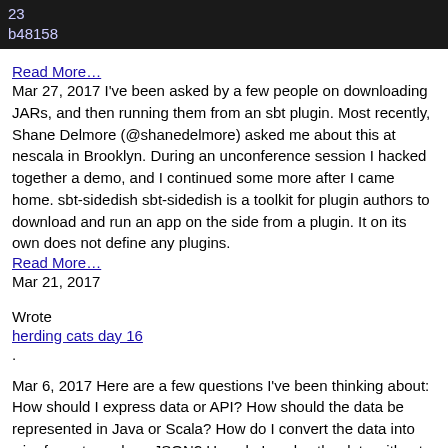23
b48158
Read More…
Mar 27, 2017 I've been asked by a few people on downloading JARs, and then running them from an sbt plugin. Most recently, Shane Delmore (@shanedelmore) asked me about this at nescala in Brooklyn. During an unconference session I hacked together a demo, and I continued some more after I came home. sbt-sidedish sbt-sidedish is a toolkit for plugin authors to download and run an app on the side from a plugin. It on its own does not define any plugins.
Read More…
Mar 21, 2017
Wrote
herding cats day 16
.
Mar 6, 2017 Here are a few questions I've been thinking about: How should I express data or API? How should the data be represented in Java or Scala? How do I convert the data into wire formats such as JSON? How do I evolve the data without breaking binary compatibility? limitation of case class The sealed trait and case class is the idiomatic way to represent datatypes in Scala, but it's impossible to add fields in binary compatible way.